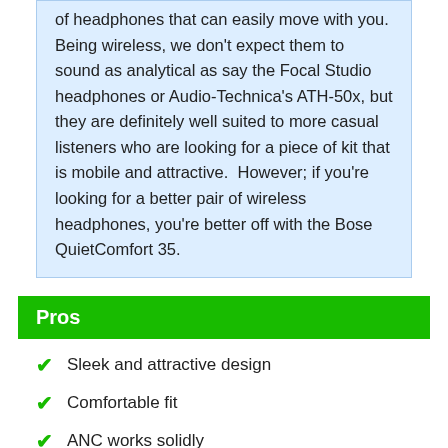of headphones that can easily move with you. Being wireless, we don't expect them to sound as analytical as say the Focal Studio headphones or Audio-Technica's ATH-50x, but they are definitely well suited to more casual listeners who are looking for a piece of kit that is mobile and attractive.  However; if you're looking for a better pair of wireless headphones, you're better off with the Bose QuietComfort 35.
Pros
Sleek and attractive design
Comfortable fit
ANC works solidly
Solid sound production with emphasis on